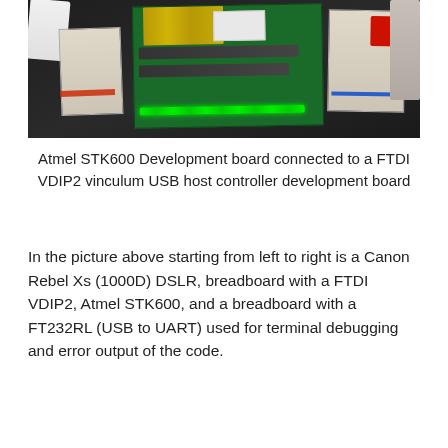[Figure (photo): Photo of Atmel STK600 Development board connected to a FTDI VDIP2 vinculum USB host controller development board, showing breadboards, green PCB, yellow wires, green LEDs, a red component, USB cable, and a calculator on a dark surface.]
Atmel STK600 Development board connected to a FTDI VDIP2 vinculum USB host controller development board
In the picture above starting from left to right is a Canon Rebel Xs (1000D) DSLR, breadboard with a FTDI VDIP2, Atmel STK600, and a breadboard with a FT232RL (USB to UART) used for terminal debugging and error output of the code.